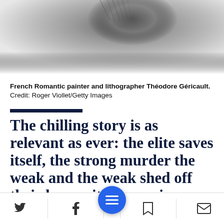[Figure (photo): Black and white photograph of French Romantic painter and lithographer Théodore Géricault, showing a partial view with dark tonal qualities.]
French Romantic painter and lithographer Théodore Géricault.  Credit: Roger Viollet/Getty Images
The chilling story is as relevant as ever: the elite saves itself, the strong murder the weak and the weak shed off their humanity to survive or drown in agony at sea.
The Medusa never reached its destination. After